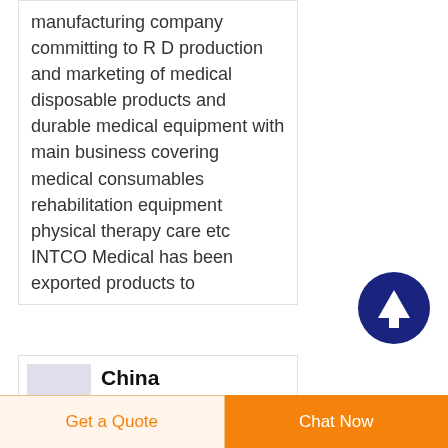manufacturing company committing to R D production and marketing of medical disposable products and durable medical equipment with main business covering medical consumables rehabilitation equipment physical therapy care etc INTCO Medical has been exported products to
[Figure (other): Dark navy blue circular button with white upward arrow icon (scroll to top button)]
[Figure (photo): Small product thumbnail image with light purple/grey background]
China Disposable Factory Medical PVC Ce FDA ISO
Get a Quote
Chat Now